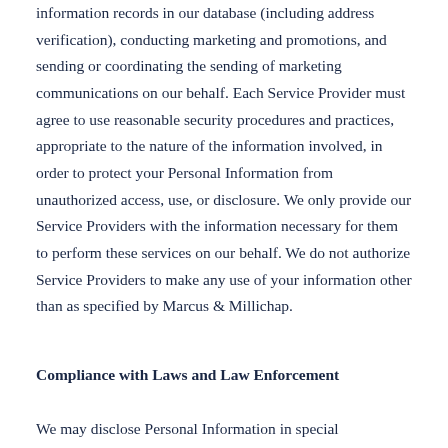information records in our database (including address verification), conducting marketing and promotions, and sending or coordinating the sending of marketing communications on our behalf. Each Service Provider must agree to use reasonable security procedures and practices, appropriate to the nature of the information involved, in order to protect your Personal Information from unauthorized access, use, or disclosure. We only provide our Service Providers with the information necessary for them to perform these services on our behalf. We do not authorize Service Providers to make any use of your information other than as specified by Marcus & Millichap.
Compliance with Laws and Law Enforcement
We may disclose Personal Information in special